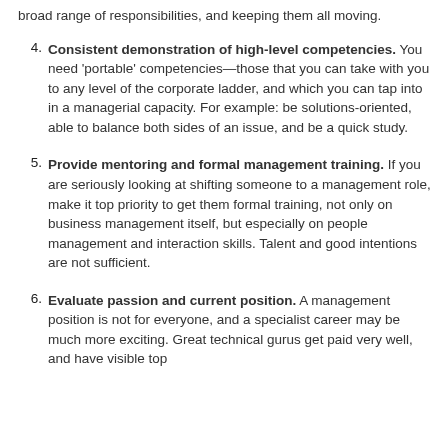broad range of responsibilities, and keeping them all moving.
4. Consistent demonstration of high-level competencies. You need 'portable' competencies—those that you can take with you to any level of the corporate ladder, and which you can tap into in a managerial capacity. For example: be solutions-oriented, able to balance both sides of an issue, and be a quick study.
5. Provide mentoring and formal management training. If you are seriously looking at shifting someone to a management role, make it top priority to get them formal training, not only on business management itself, but especially on people management and interaction skills. Talent and good intentions are not sufficient.
6. Evaluate passion and current position. A management position is not for everyone, and a specialist career may be much more exciting. Great technical gurus get paid very well, and have visible top